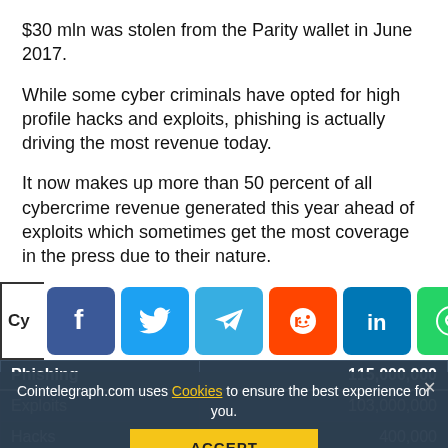$30 mln was stolen from the Parity wallet in June 2017.
While some cyber criminals have opted for high profile hacks and exploits, phishing is actually driving the most revenue today.
It now makes up more than 50 percent of all cybercrime revenue generated this year ahead of exploits which sometimes get the most coverage in the press due to their nature.
[Figure (other): Social share bar with buttons: Facebook, Twitter, Telegram, Reddit, LinkedIn, WhatsApp, Copy, Up arrow. Left stub shows 'Cy' and right stub shows 'er of v'.]
| Cybercrime type | Number of v... |
| --- | --- |
| Phishing | 115,000,000 |
| Exploits | 103,000,000 |
| Hacks | 400,000 |
| Ponzi | 4,000 |
Cointelegraph.com uses Cookies to ensure the best experience for you.
ACCEPT